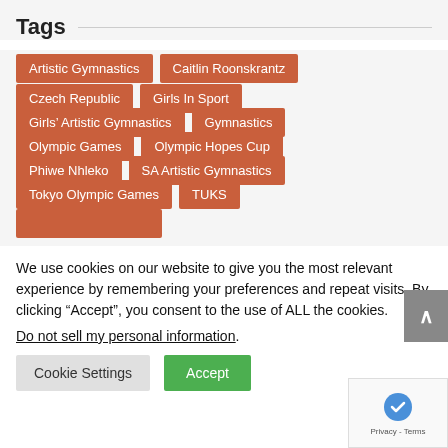Tags
Artistic Gymnastics
Caitlin Roonskrantz
Czech Republic
Girls In Sport
Girls' Artistic Gymnastics
Gymnastics
Olympic Games
Olympic Hopes Cup
Phiwe Nhleko
SA Artistic Gymnastics
Tokyo Olympic Games
TUKS
We use cookies on our website to give you the most relevant experience by remembering your preferences and repeat visits. By clicking “Accept”, you consent to the use of ALL the cookies.
Do not sell my personal information.
Cookie Settings
Accept